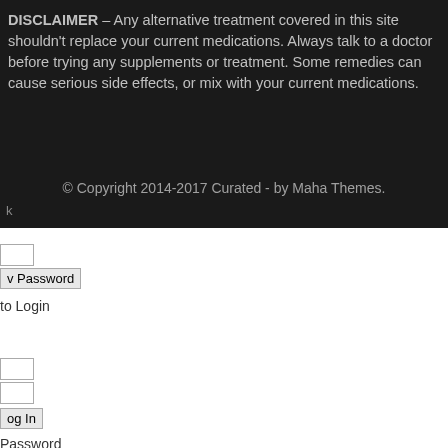DISCLAIMER – Any alternative treatment covered in this site shouldn't replace your current medications. Always talk to a doctor before trying any supplements or treatment. Some remedies can cause serious side effects, or mix with your current medications.
© Copyright 2014-2017 Curated - by Maha Themes.
k
[Figure (screenshot): Input box for password field in forgot password form]
v Password
to Login
[Figure (screenshot): Two input boxes for username and password in login form]
og In
Password